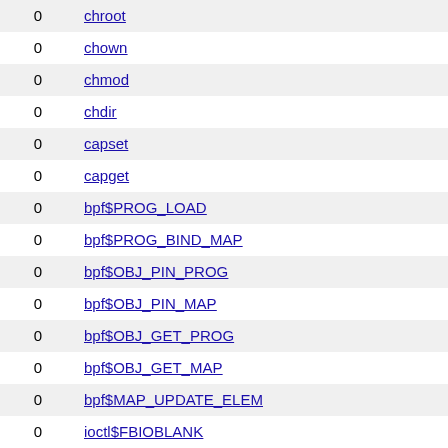| count | name |
| --- | --- |
| 0 | chroot |
| 0 | chown |
| 0 | chmod |
| 0 | chdir |
| 0 | capset |
| 0 | capget |
| 0 | bpf$PROG_LOAD |
| 0 | bpf$PROG_BIND_MAP |
| 0 | bpf$OBJ_PIN_PROG |
| 0 | bpf$OBJ_PIN_MAP |
| 0 | bpf$OBJ_GET_PROG |
| 0 | bpf$OBJ_GET_MAP |
| 0 | bpf$MAP_UPDATE_ELEM |
| 0 | ioctl$FBIOBLANK |
| 0 | ioctl$FBIOGETCMAP |
| 0 | ioctl$FBIOGET_CON2FBMAP |
| 0 | ioctl$FBIOGET_FSCREENINFO |
| 0 | ioctl$FBIOGET_VSCREENINFO |
| 0 | ioctl$FBIOPAN_DISPLAY |
| 0 | ioctl$FBIOPUTCMAP |
| 0 | ioctl$FBIOPUT_CON2FBMAP |